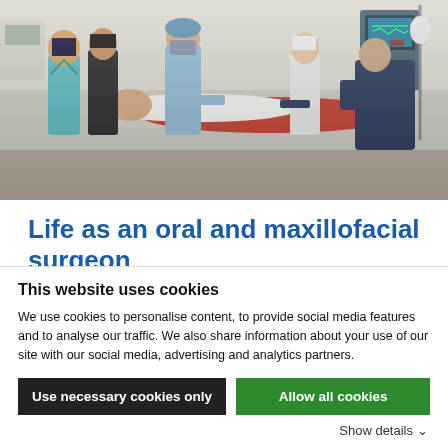[Figure (photo): Medical team treating a patient on a hospital bed; multiple healthcare workers in scrubs and gowns surrounding a patient in a clinical setting.]
Life as an oral and maxillofacial surgeon
You will treat children who are born with or develop
This website uses cookies
We use cookies to personalise content, to provide social media features and to analyse our traffic. We also share information about your use of our site with our social media, advertising and analytics partners.
Use necessary cookies only
Allow all cookies
Show details